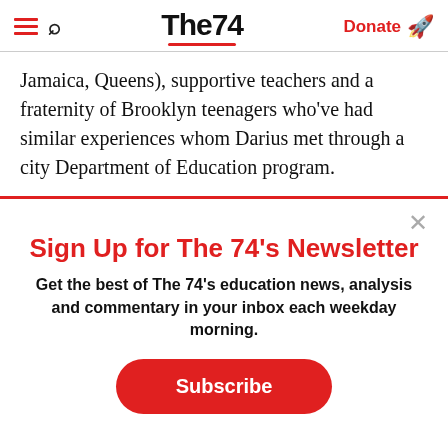The74 | Donate
Jamaica, Queens), supportive teachers and a fraternity of Brooklyn teenagers who've had similar experiences whom Darius met through a city Department of Education program.
Sign Up for The 74's Newsletter
Get the best of The 74's education news, analysis and commentary in your inbox each weekday morning.
Subscribe